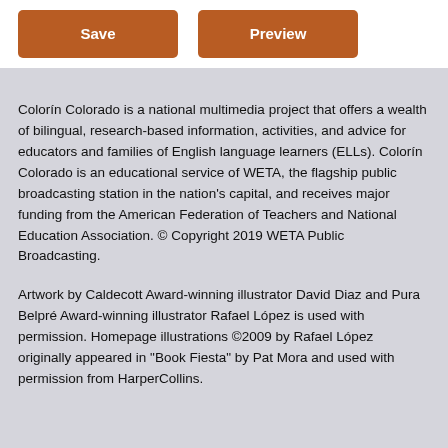[Figure (screenshot): Two buttons: 'Save' (brown/orange) and 'Preview' (brown/orange) on a white background]
Colorín Colorado is a national multimedia project that offers a wealth of bilingual, research-based information, activities, and advice for educators and families of English language learners (ELLs). Colorín Colorado is an educational service of WETA, the flagship public broadcasting station in the nation's capital, and receives major funding from the American Federation of Teachers and National Education Association. © Copyright 2019 WETA Public Broadcasting.
Artwork by Caldecott Award-winning illustrator David Diaz and Pura Belpré Award-winning illustrator Rafael López is used with permission. Homepage illustrations ©2009 by Rafael López originally appeared in "Book Fiesta" by Pat Mora and used with permission from HarperCollins.